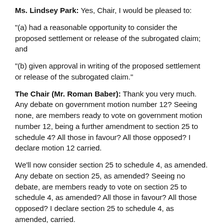Ms. Lindsey Park: Yes, Chair, I would be pleased to:
"(a) had a reasonable opportunity to consider the proposed settlement or release of the subrogated claim; and
"(b) given approval in writing of the proposed settlement or release of the subrogated claim."
The Chair (Mr. Roman Baber): Thank you very much. Any debate on government motion number 12? Seeing none, are members ready to vote on government motion number 12, being a further amendment to section 25 to schedule 4? All those in favour? All those opposed? I declare motion 12 carried.
We'll now consider section 25 to schedule 4, as amended. Any debate on section 25, as amended? Seeing no debate, are members ready to vote on section 25 to schedule 4, as amended? All those in favour? All those opposed? I declare section 25 to schedule 4, as amended, carried.